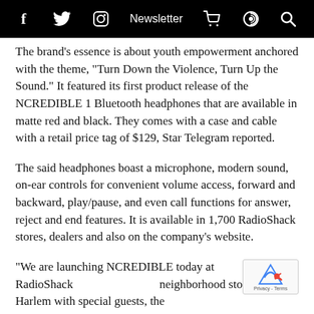f  twitter  instagram  Newsletter  cart  podcast  search
The brand’s essence is about youth empowerment anchored with the theme, “Turn Down the Violence, Turn Up the Sound.” It featured its first product release of the NCREDIBLE 1 Bluetooth headphones that are available in matte red and black. They comes with a case and cable with a retail price tag of $129, Star Telegram reported.
The said headphones boast a microphone, modern sound, on-ear controls for convenient volume access, forward and backward, play/pause, and even call functions for answer, reject and end features. It is available in 1,700 RadioShack stores, dealers and also on the company’s website.
“We are launching NCREDIBLE today at RadioShack neighborhood store in Harlem with special guests, the School of the Arts and LIFE Camp representing New York